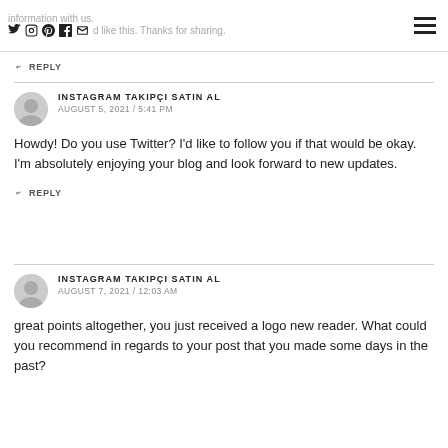information with us. [social icons] please like this. Thanks for sharing.
↩ REPLY
INSTAGRAM TAKIPÇI SATIN AL
AUGUST 5, 2021 / 5:41 PM
Howdy! Do you use Twitter? I'd like to follow you if that would be okay. I'm absolutely enjoying your blog and look forward to new updates.
↩ REPLY
INSTAGRAM TAKIPÇI SATIN AL
AUGUST 7, 2021 / 12:03 AM
great points altogether, you just received a logo new reader. What could you recommend in regards to your post that you made some days in the past?